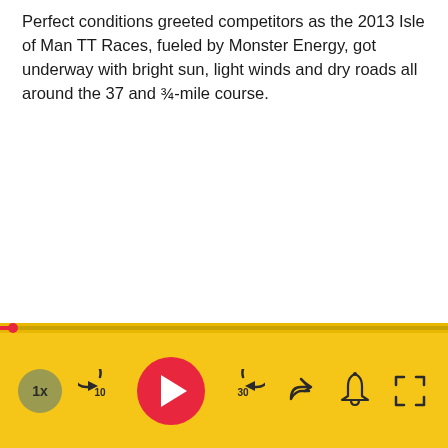Perfect conditions greeted competitors as the 2013 Isle of Man TT Races, fueled by Monster Energy, got underway with bright sun, light winds and dry roads all around the 37 and ¾-mile course.
[Figure (screenshot): Video player control bar with yellow background, red play button, skip back 10s, skip forward 30s, share, notification bell, speed 1x, fullscreen icons, and a progress bar with red dot indicator near the beginning.]